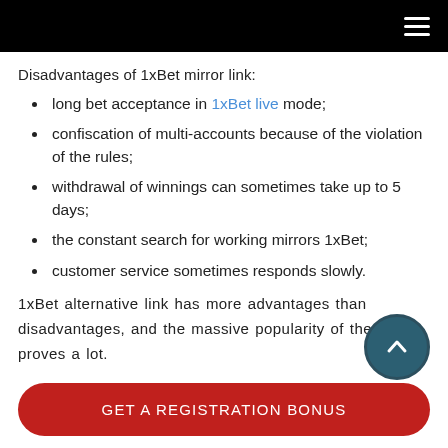Disadvantages of 1xBet mirror link:
long bet acceptance in 1xBet live mode;
confiscation of multi-accounts because of the violation of the rules;
withdrawal of winnings can sometimes take up to 5 days;
the constant search for working mirrors 1xBet;
customer service sometimes responds slowly.
1xBet alternative link has more advantages than disadvantages, and the massive popularity of the office proves a lot.